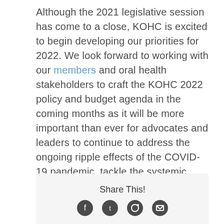Although the 2021 legislative session has come to a close, KOHC is excited to begin developing our priorities for 2022. We look forward to working with our members and oral health stakeholders to craft the KOHC 2022 policy and budget agenda in the coming months as it will be more important than ever for advocates and leaders to continue to address the ongoing ripple effects of the COVID-19 pandemic, tackle the systemic injustices that impact our Black and Brown communities, and ensures every Kentuckian achieves optimal oral health.
Share This!